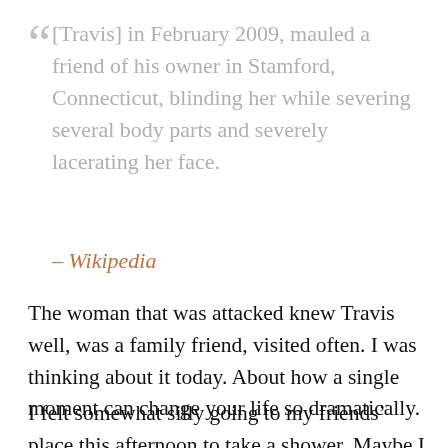“ [Travis] in February 2009, mauled a friend of his owner in Stamford, Connecticut, blinding her while severing several body parts and severely lacerating her face.
– Wikipedia
The woman that was attacked knew Travis well, was a family friend, visited often. I was thinking about it today. About how a single moment can change your life so dramatically.
I felt somewhat silly going to my friends’ place this afternoon to take a shower. Maybe I